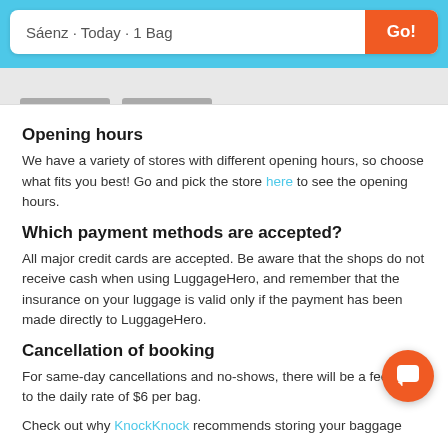Sáenz · Today · 1 Bag | Go!
Opening hours
We have a variety of stores with different opening hours, so choose what fits you best! Go and pick the store here to see the opening hours.
Which payment methods are accepted?
All major credit cards are accepted. Be aware that the shops do not receive cash when using LuggageHero, and remember that the insurance on your luggage is valid only if the payment has been made directly to LuggageHero.
Cancellation of booking
For same-day cancellations and no-shows, there will be a fee equal to the daily rate of $6 per bag.
Check out why KnockKnock recommends storing your baggage